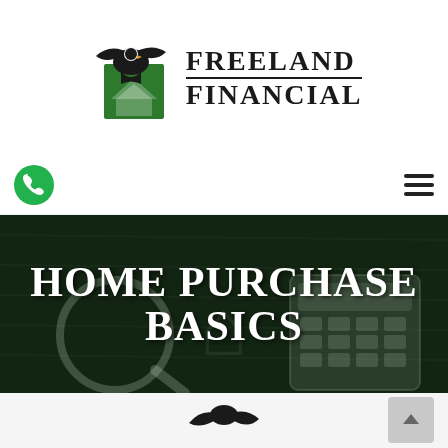[Figure (logo): Freeland Financial logo: eagle with green background square and company name in large serif text]
[Figure (infographic): Navigation bar with green phone icon button on left and hamburger menu icon on right]
[Figure (photo): Dark green hero banner with magnifying glass and calculator on wood desk background overlaid with text HOME PURCHASE BASICS]
HOME PURCHASE BASICS
[Figure (logo): Partial Freeland Financial eagle logo visible at bottom of page, and a scroll-to-top button in bottom right corner]